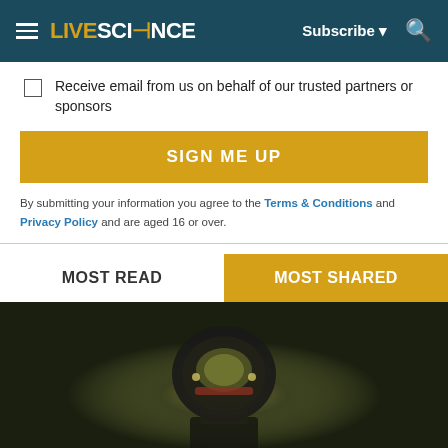LIVESCIENCE — Subscribe — Search
Receive email from us on behalf of our trusted partners or sponsors
SIGN ME UP
By submitting your information you agree to the Terms & Conditions and Privacy Policy and are aged 16 or over.
MOST READ
MOST SHARED
[Figure (photo): Underwater diver in dark water with helmet and equipment illuminated by light]
Primary Progressive Multiple Sclerosis: What
n/a